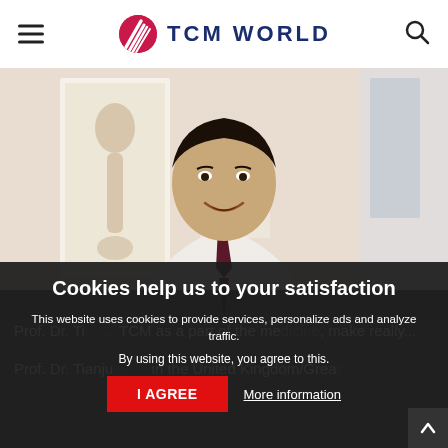TCM WORLD
[Figure (photo): A smiling Asian man in a white shirt and dark tie, standing in front of a medical chart showing acupuncture points on the human body.]
Cookies help us to your satisfaction
This website uses cookies to provide services, personalize ads and analyze traffic.
By using this website, you agree to this.
I AGREE
More information
Prof. Dr. Ti… …TCM as a part of the medicine, make really...
Prof. Dr. Tianju… … in the United Kingdom/Grea…